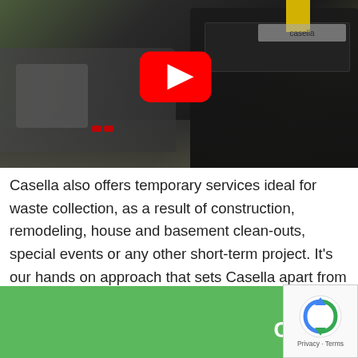[Figure (screenshot): Video thumbnail showing a truck/dumpster scene with YouTube play button overlay]
Casella also offers temporary services ideal for waste collection, as a result of construction, remodeling, house and basement clean-outs, special events or any other short-term project. It's our hands on approach that sets Casella apart from other companies offering construction waste removal in Hague, NY.
Ready to get started? Simply fill out our
TAKE $25 OFF
Call 518-636-4423